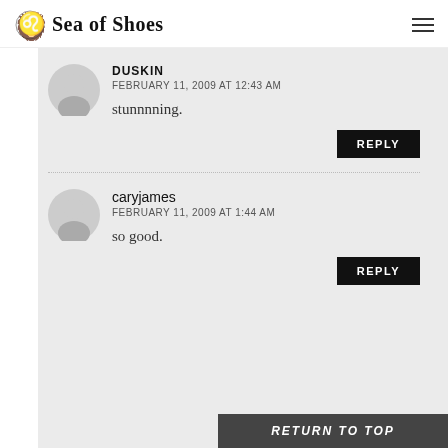Sea of Shoes
DUSKIN
FEBRUARY 11, 2009 AT 12:43 AM
stunnnning.
REPLY
caryjames
FEBRUARY 11, 2009 AT 1:44 AM
so good.
REPLY
RETURN TO TOP